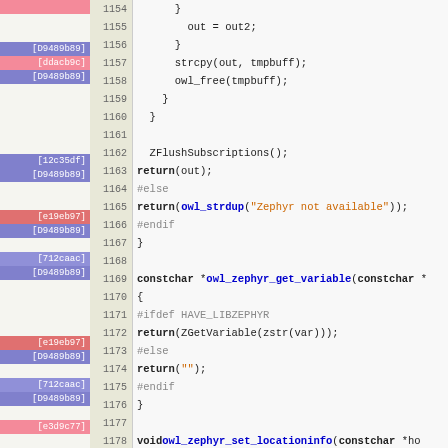[Figure (screenshot): Source code viewer showing C code lines 1154-1185, with git blame annotations in the left gutter (commit hashes colored pink/red/blue/purple) and line numbers. Code includes functions owl_zephyr_get_variable and owl_zephyr_set_locationinfo with #ifdef HAVE_LIBZEPHYR guards.]